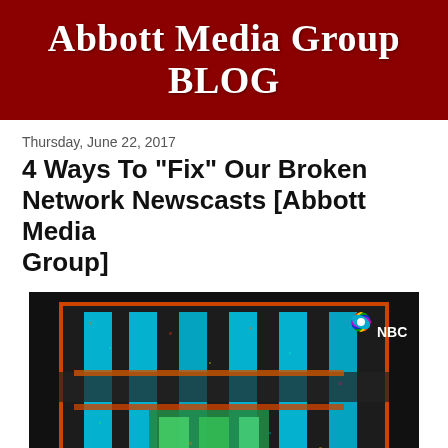Abbott Media Group BLOG
Thursday, June 22, 2017
4 Ways To "Fix" Our Broken Network Newscasts [Abbott Media Group]
[Figure (photo): Night-time exterior photo of an NBC studio building with colorful neon lighting — blue vertical columns and orange/red accents visible on the facade, with the NBC peacock logo visible in the upper right corner.]